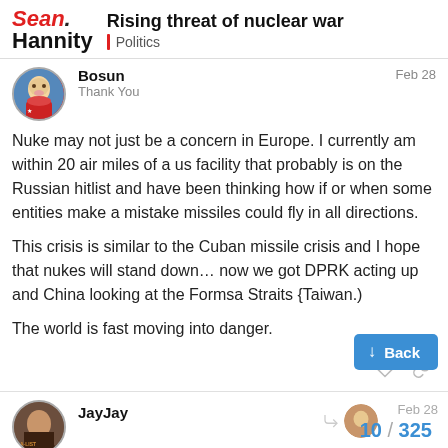Sean Hannity — Rising threat of nuclear war — Politics
Bosun  Feb 28
Thank You
Nuke may not just be a concern in Europe. I currently am within 20 air miles of a us facility that probably is on the Russian hitlist and have been thinking how if or when some entities make a mistake missiles could fly in all directions.

This crisis is similar to the Cuban missile crisis and I hope that nukes will stand down… now we got DPRK acting up and China looking at the Formsa Straits {Taiwan.)

The world is fast moving into danger.
JayJay  Feb 28
10 / 325